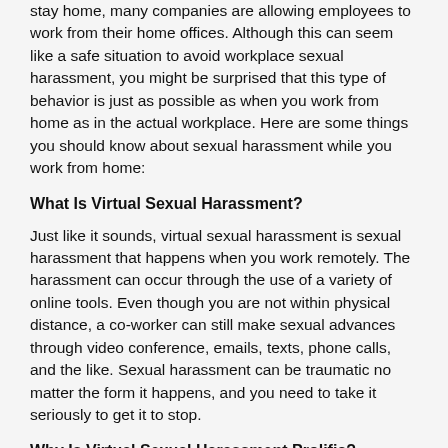stay home, many companies are allowing employees to work from their home offices. Although this can seem like a safe situation to avoid workplace sexual harassment, you might be surprised that this type of behavior is just as possible as when you work from home as in the actual workplace. Here are some things you should know about sexual harassment while you work from home:
What Is Virtual Sexual Harassment?
Just like it sounds, virtual sexual harassment is sexual harassment that happens when you work remotely. The harassment can occur through the use of a variety of online tools. Even though you are not within physical distance, a co-worker can still make sexual advances through video conference, emails, texts, phone calls, and the like. Sexual harassment can be traumatic no matter the form it happens, and you need to take it seriously to get it to stop.
Why Is Virtual Sexual Harassment Prolific?